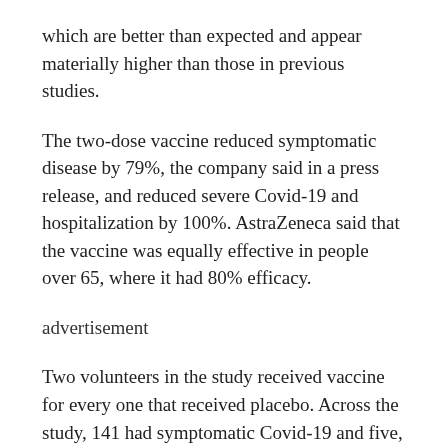which are better than expected and appear materially higher than those in previous studies.
The two-dose vaccine reduced symptomatic disease by 79%, the company said in a press release, and reduced severe Covid-19 and hospitalization by 100%. AstraZeneca said that the vaccine was equally effective in people over 65, where it had 80% efficacy.
advertisement
Two volunteers in the study received vaccine for every one that received placebo. Across the study, 141 had symptomatic Covid-19 and five, all in the placebo group, had severe disease. Mene Pangalos, the executive vice president of biopharmaceutical R&D at AstraZeneca, said on a call with reporters those figures made the company very confident about the results, but that more data are